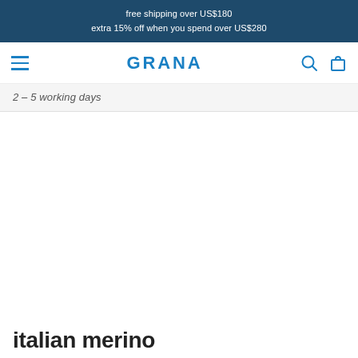free shipping over US$180
extra 15% off when you spend over US$280
[Figure (screenshot): GRANA website navigation bar with hamburger menu, GRANA logo in blue, search icon, and shopping bag icon]
2 – 5 working days
italian merino